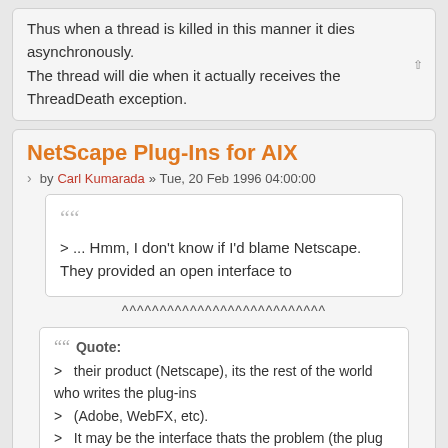Thus when a thread is killed in this manner it dies asynchronously. The thread will die when it actually receives the ThreadDeath exception.
NetScape Plug-Ins for AIX
by Carl Kumarada » Tue, 20 Feb 1996 04:00:00
> ... Hmm, I don't know if I'd blame Netscape.  They provided an open interface to
^^^^^^^^^^^^^^^^^^^^^^^^^^^
Quote: > their product (Netscape), its the rest of the world who writes the plug-ins > (Adobe, WebFX, etc). > It may be the interface thats the problem (the plug ins should be written > in Java so they're portable), but I don't know enough about the API. > Anyway, I agree somewhat 'cuz AIX does not have a single plug-in (or Java.